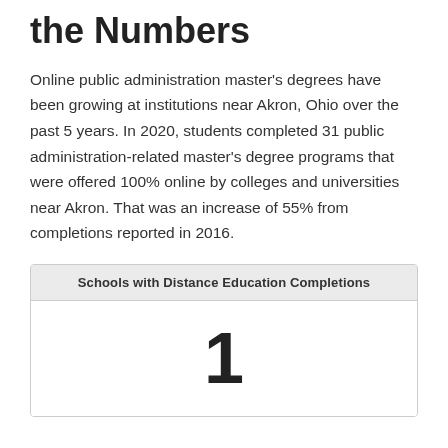the Numbers
Online public administration master's degrees have been growing at institutions near Akron, Ohio over the past 5 years. In 2020, students completed 31 public administration-related master's degree programs that were offered 100% online by colleges and universities near Akron. That was an increase of 55% from completions reported in 2016.
| Schools with Distance Education Completions |
| --- |
| 1 |